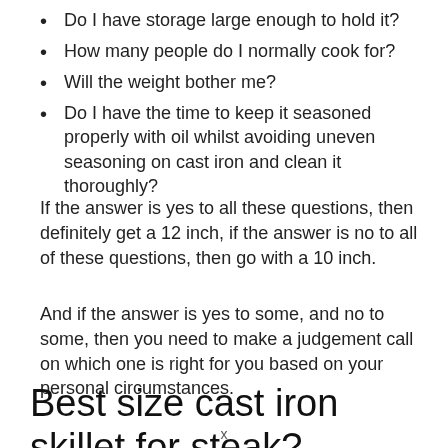Do I have storage large enough to hold it?
How many people do I normally cook for?
Will the weight bother me?
Do I have the time to keep it seasoned properly with oil whilst avoiding uneven seasoning on cast iron and clean it thoroughly?
If the answer is yes to all these questions, then definitely get a 12 inch, if the answer is no to all of these questions, then go with a 10 inch.
And if the answer is yes to some, and no to some, then you need to make a judgement call on which one is right for you based on your personal circumstances.
Best size cast iron skillet for steak?
x